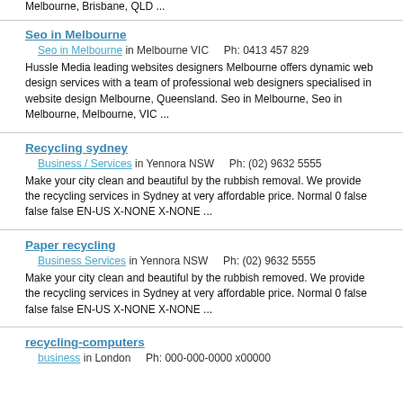Melbourne, Brisbane, QLD ...
Seo in Melbourne
Seo in Melbourne in Melbourne VIC    Ph: 0413 457 829
Hussle Media leading websites designers Melbourne offers dynamic web design services with a team of professional web designers specialised in website design Melbourne, Queensland. Seo in Melbourne, Seo in Melbourne, Melbourne, VIC ...
Recycling sydney
Business / Services in Yennora NSW    Ph: (02) 9632 5555
Make your city clean and beautiful by the rubbish removal. We provide the recycling services in Sydney at very affordable price. Normal 0 false false false EN-US X-NONE X-NONE ...
Paper recycling
Business Services in Yennora NSW    Ph: (02) 9632 5555
Make your city clean and beautiful by the rubbish removed. We provide the recycling services in Sydney at very affordable price. Normal 0 false false false EN-US X-NONE X-NONE ...
recycling-computers
business in London    Ph: 000-000-0000 x00000